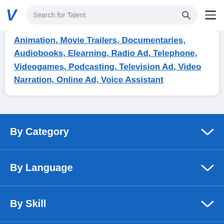V  Search for Talent
Animation, Movie Trailers, Documentaries, Audiobooks, Elearning, Radio Ad, Telephone, Videogames, Podcasting, Television Ad, Video Narration, Online Ad, Voice Assistant
By Category
By Language
By Skill
By Location